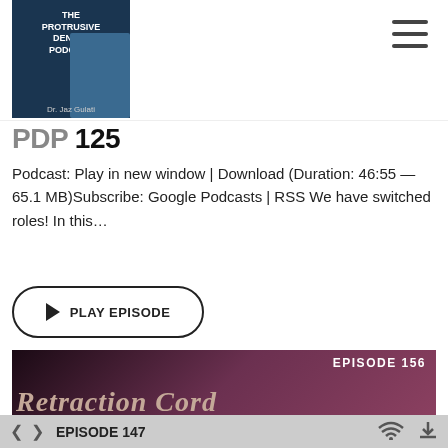[Figure (logo): The Protrusive Dental Podcast logo with Dr. Jaz Gulati branding]
PDP 125
Podcast: Play in new window | Download (Duration: 46:55 — 65.1 MB)Subscribe: Google Podcasts | RSS We have switched roles! In this…
PLAY EPISODE
[Figure (screenshot): Episode 156 - Retraction Cord podcast thumbnail image]
EPISODE 147